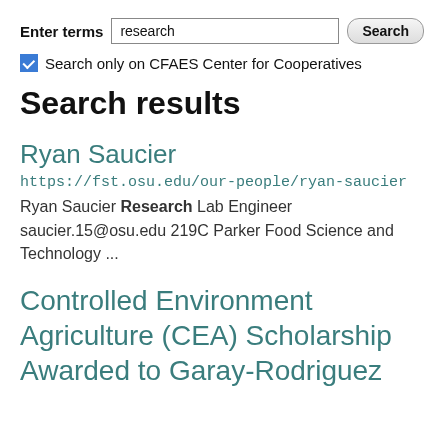Enter terms [search input] [Search button]
Search only on CFAES Center for Cooperatives
Search results
Ryan Saucier
https://fst.osu.edu/our-people/ryan-saucier
Ryan Saucier Research Lab Engineer saucier.15@osu.edu 219C Parker Food Science and Technology ...
Controlled Environment Agriculture (CEA) Scholarship Awarded to Garay-Rodriguez